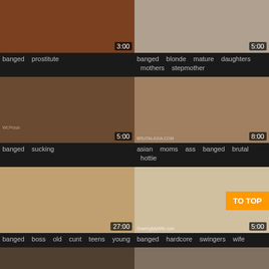[Figure (screenshot): Video thumbnail 1 - dark warm tones, duration 3:00]
banged  prostitute
[Figure (screenshot): Video thumbnail 2 - blonde mature, duration 5:00]
banged  blonde  mature  daughters  mothers  stepmother
[Figure (screenshot): Video thumbnail 3 - WCPclub, duration 5:00]
banged  sucking
[Figure (screenshot): Video thumbnail 4 - brutalasia.com, duration 8:00]
asian  moms  ass  banged  brutal  hottie
[Figure (screenshot): Video thumbnail 5 - man portrait, duration 27:00]
banged  boss  old  cunt  teens  young
[Figure (screenshot): Video thumbnail 6 - SharingMyWife.com, duration 5:00, TO TOP button overlay]
banged  hardcore  swingers  wife
[Figure (screenshot): Partial thumbnail row at bottom left]
[Figure (screenshot): Partial thumbnail row at bottom right]